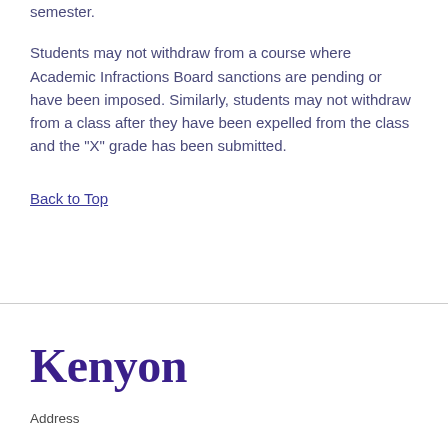semester.
Students may not withdraw from a course where Academic Infractions Board sanctions are pending or have been imposed. Similarly, students may not withdraw from a class after they have been expelled from the class and the "X" grade has been submitted.
Back to Top
[Figure (logo): Kenyon College logo — the word 'Kenyon' in large bold serif font in dark purple]
Address